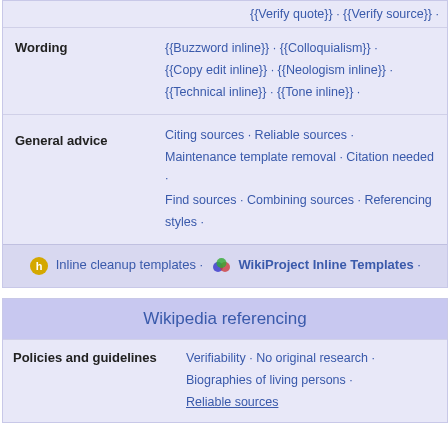|  | {{Verify quote}} · {{Verify source}} · |
| Wording | {{Buzzword inline}} · {{Colloquialism}} ·
{{Copy edit inline}} · {{Neologism inline}} ·
{{Technical inline}} · {{Tone inline}} · |
| General advice | Citing sources · Reliable sources ·
Maintenance template removal · Citation needed ·
Find sources · Combining sources · Referencing styles · |
Inline cleanup templates · WikiProject Inline Templates ·
Wikipedia referencing
| Policies and guidelines | Verifiability · No original research ·
Biographies of living persons ·
Reliable sources |